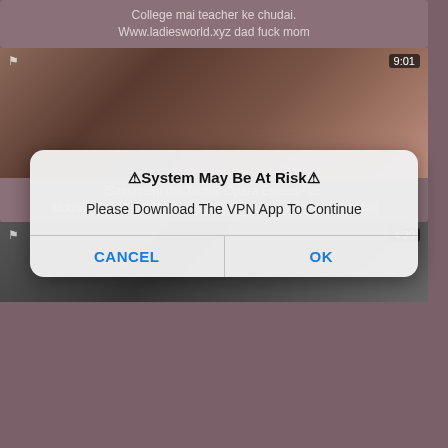College mai teacher ke chudai. Www.ladiesworld.xyz dad fuck mom
[Figure (screenshot): Video thumbnail with timestamp 9:01 showing adult content]
Sexorcism the Tantric Opera Episode 05 &ldquo_Sex Magic Goddess Puja&rdquo_ sexy thighs bhabhi
[Figure (screenshot): Dialog box: System May Be At Risk - Please Download The VPN App To Continue with CANCEL and OK buttons]
[Figure (screenshot): Video thumbnail with timestamp 4:29 showing adult content]